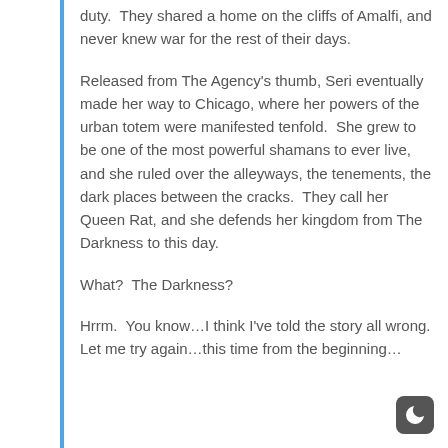duty.  They shared a home on the cliffs of Amalfi, and never knew war for the rest of their days.
Released from The Agency's thumb, Seri eventually made her way to Chicago, where her powers of the urban totem were manifested tenfold.  She grew to be one of the most powerful shamans to ever live, and she ruled over the alleyways, the tenements, the dark places between the cracks.  They call her Queen Rat, and she defends her kingdom from The Darkness to this day.
What?  The Darkness?
Hrrm.  You know…I think I've told the story all wrong.  Let me try again…this time from the beginning…